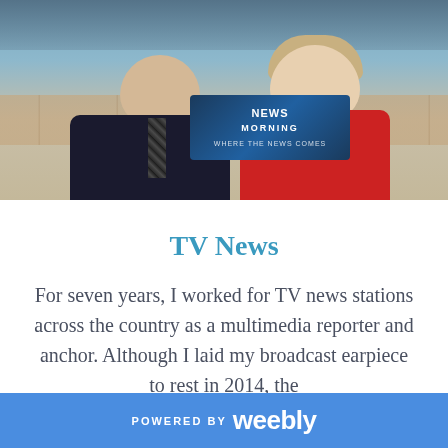[Figure (photo): Two TV news anchors sitting at a news desk — a man in a dark suit with striped tie on the left, and a woman in a red top on the right, in front of a news broadcast studio backdrop with a news logo visible between them and a stone/brick wall behind]
TV News
For seven years, I worked for TV news stations across the country as a multimedia reporter and anchor. Although I laid my broadcast earpiece to rest in 2014, the
POWERED BY weebly